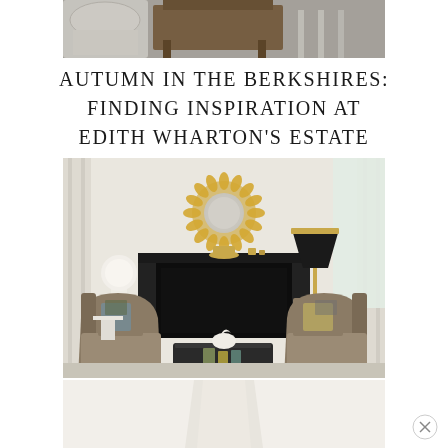[Figure (photo): Top partial photo showing antique white chair and dark wood furniture legs on a grey/taupe carpet, cropped view]
AUTUMN IN THE BERKSHIRES: FINDING INSPIRATION AT EDITH WHARTON'S ESTATE
[Figure (photo): Elegant living room interior with two taupe velvet armchairs around a dark coffee table, black marble fireplace, gold sunflower/daisy mirror above mantle, white globe lamp, tall brass floor lamp with black shade, white paneled walls with classical pilasters, natural light from right window]
[Figure (photo): Bottom cropped partial image showing a light-colored pedestal or table base, white/cream background, likely continuation of advertisement or article image]